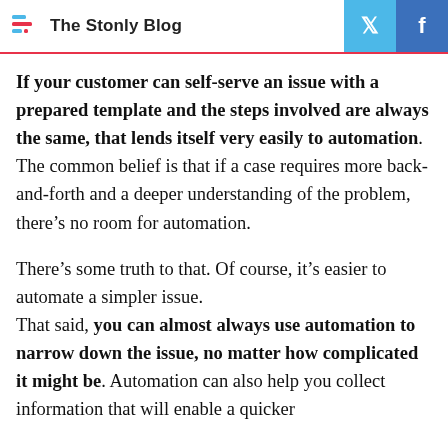The Stonly Blog
If your customer can self-serve an issue with a prepared template and the steps involved are always the same, that lends itself very easily to automation. The common belief is that if a case requires more back-and-forth and a deeper understanding of the problem, there’s no room for automation.
There’s some truth to that. Of course, it’s easier to automate a simpler issue.
That said, you can almost always use automation to narrow down the issue, no matter how complicated it might be. Automation can also help you collect information that will enable a quicker